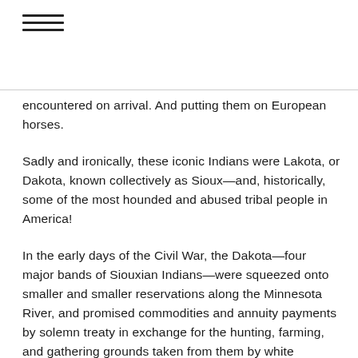≡
encountered on arrival. And putting them on European horses.
Sadly and ironically, these iconic Indians were Lakota, or Dakota, known collectively as Sioux—and, historically, some of the most hounded and abused tribal people in America!
In the early days of the Civil War, the Dakota—four major bands of Siouxian Indians—were squeezed onto smaller and smaller reservations along the Minnesota River, and promised commodities and annuity payments by solemn treaty in exchange for the hunting, farming, and gathering grounds taken from them by white settlers. Federal Indian agents and a Minnesota governor